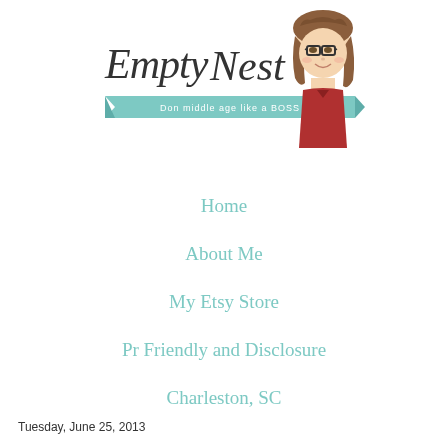[Figure (logo): Empty Nest blog logo with cursive/script text 'Empty Nest', teal banner with text 'Don middle age like a BOSS', and a cartoon illustration of a woman with glasses and curly brown hair wearing a red top]
Home
About Me
My Etsy Store
Pr Friendly and Disclosure
Charleston, SC
Tuesday, June 25, 2013